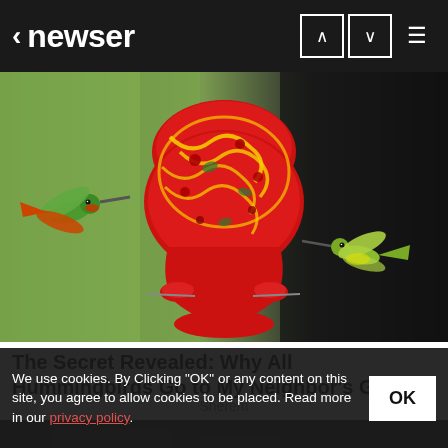< newser
[Figure (photo): A colorful red, yellow and green glass hummingbird feeder shaped like an ornate vase, with two hummingbirds nearby — one flying on the left and one perched/hovering on the right, against a blurred green and dark background.]
The Secret Revealed: Why All Hummingbirds Go to My Neighbor's Garden
Sherem
[Figure (photo): Partial view of a dark scene, bottom portion of page.]
We use cookies. By Clicking "OK" or any content on this site, you agree to allow cookies to be placed. Read more in our privacy policy.